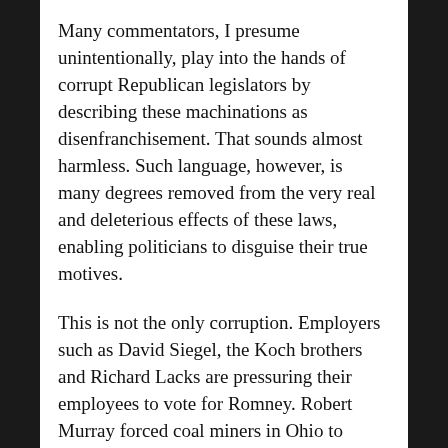Many commentators, I presume unintentionally, play into the hands of corrupt Republican legislators by describing these machinations as disenfranchisement. That sounds almost harmless. Such language, however, is many degrees removed from the very real and deleterious effects of these laws, enabling politicians to disguise their true motives.
This is not the only corruption. Employers such as David Siegel, the Koch brothers and Richard Lacks are pressuring their employees to vote for Romney. Robert Murray forced coal miners in Ohio to attend--without pay--a Romney rally during the summer. The miners were even used a backdrop behind Romney during his speech.
This is where international election observers come in. They can attest the existence of such actions, but...